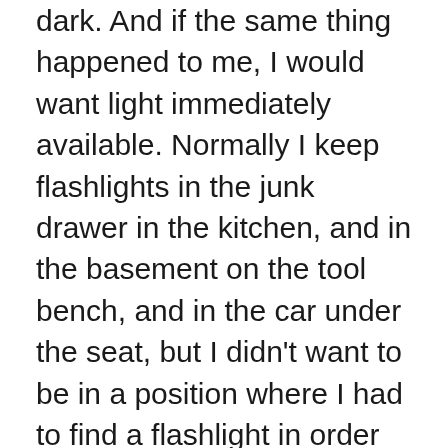dark. And if the same thing happened to me, I would want light immediately available. Normally I keep flashlights in the junk drawer in the kitchen, and in the basement on the tool bench, and in the car under the seat, but I didn't want to be in a position where I had to find a flashlight in order to find a flashlight. I didn't want to waste any time at all fumbling around in the darkness and confusion searching for it. So I bought a flashlight with a wrist strap attached, and I gave it fresh batteries, and I hung it from my bedpost, because the problem...